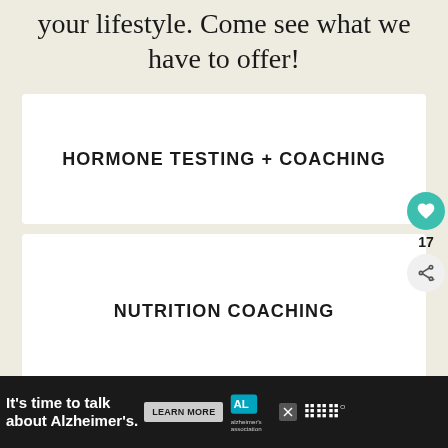your lifestyle. Come see what we have to offer!
HORMONE TESTING + COACHING
NUTRITION COACHING
[Figure (screenshot): Ad banner: It's time to talk about Alzheimer's. Learn More button. Alzheimer's Association logo.]